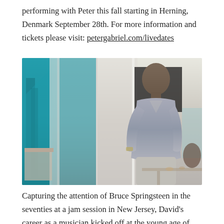performing with Peter this fall starting in Herning, Denmark September 28th. For more information and tickets please visit: petergabriel.com/livedates
[Figure (photo): A composite photo: left side shows a teal/blue staircase interior; right side shows a man in a grey linen shirt standing in a bright interior space.]
Capturing the attention of Bruce Springsteen in the seventies at a jam session in New Jersey, David's career as a musician kicked off at the young age of seventeen